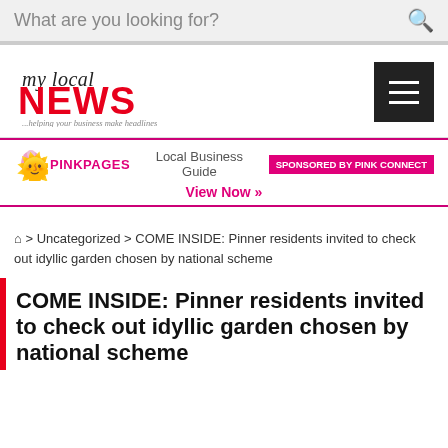What are you looking for?
[Figure (logo): my local NEWS logo with tagline '...helping your business make headlines' and hamburger menu button]
[Figure (infographic): Pink Pages Local Business Guide banner - Sponsored by Pink Connect - View Now]
⌂ > Uncategorized > COME INSIDE: Pinner residents invited to check out idyllic garden chosen by national scheme
COME INSIDE: Pinner residents invited to check out idyllic garden chosen by national scheme